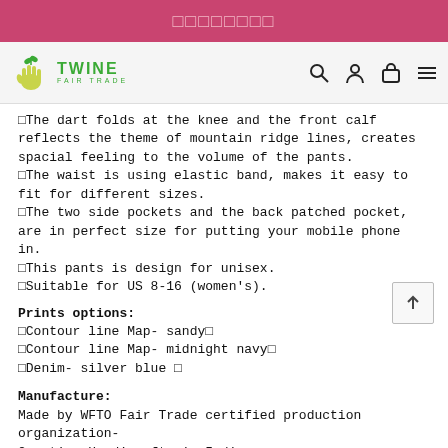□□□□□□□□
[Figure (logo): Twine Fair Trade logo with green hand holding plant and green text 'TWINE FAIR TRADE']
□The dart folds at the knee and the front calf reflects the theme of mountain ridge lines, creates spacial feeling to the volume of the pants.
□The waist is using elastic band, makes it easy to fit for different sizes.
□The two side pockets and the back patched pocket, are in perfect size for putting your mobile phone in.
□This pants is design for unisex.
□Suitable for US 8-16 (women's).
Prints options:
□Contour line Map- sandy□
□Contour line Map- midnight navy□
□Denim- silver blue □
Manufacture:
Made by WFTO Fair Trade certified production organization-
Creative Handicrafts in India.